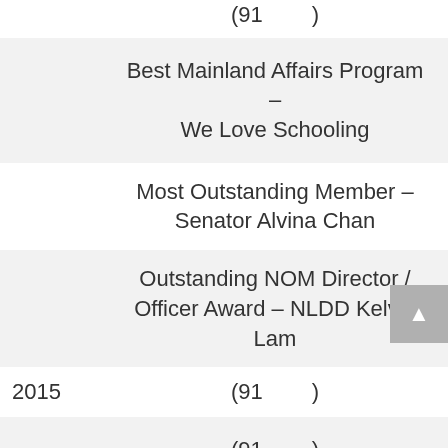| Year | Award |
| --- | --- |
|  | (91      ) |
|  | Best Mainland Affairs Program – We Love Schooling |
|  | Most Outstanding Member – Senator Alvina Chan |
|  | Outstanding NOM Director / Officer Award – NLDD Kelvin Lam |
| 2015 | (91      ) |
|  | (91      ) |
| 2014 | Best Mainland Affairs Program – |